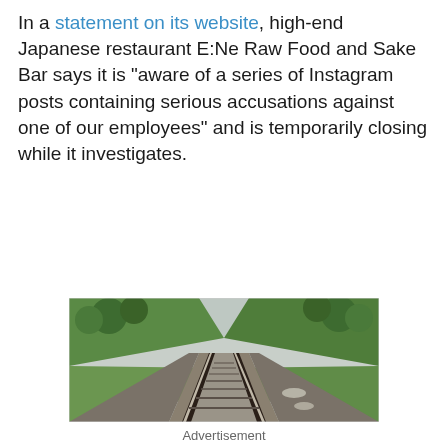In a statement on its website, high-end Japanese restaurant E:Ne Raw Food and Sake Bar says it is "aware of a series of Instagram posts containing serious accusations against one of our employees" and is temporarily closing while it investigates.
[Figure (photo): Perspective view of straight railway tracks receding into the distance, flanked by green trees and bushes on both sides, overcast sky above.]
Advertisement